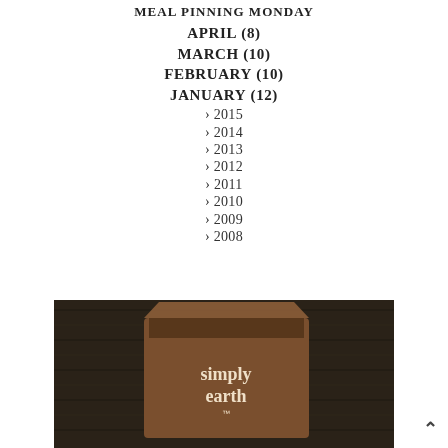MEAL PINNING MONDAY
APRIL (8)
MARCH (10)
FEBRUARY (10)
JANUARY (12)
> 2015
> 2014
> 2013
> 2012
> 2011
> 2010
> 2009
> 2008
[Figure (photo): A brown cardboard box with 'simply earth' branding sitting on a dark wooden surface]